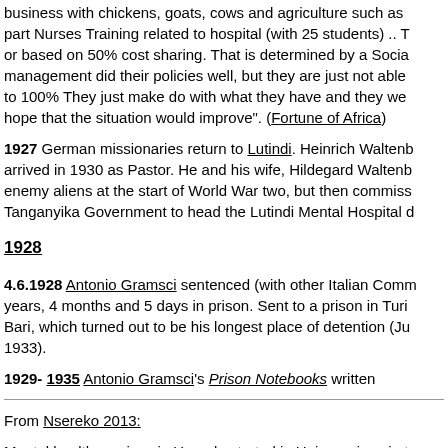business with chickens, goats, cows and agriculture such as part Nurses Training related to hospital (with 25 students) .. T or based on 50% cost sharing. That is determined by a Socia management did their policies well, but they are just not able to 100% They just make do with what they have and they we hope that the situation would improve". (Fortune of Africa)
1927 German missionaries return to Lutindi. Heinrich Waltenb arrived in 1930 as Pastor. He and his wife, Hildegard Waltenb enemy aliens at the start of World War two, but then commiss Tanganyika Government to head the Lutindi Mental Hospital d
1928
4.6.1928 Antonio Gramsci sentenced (with other Italian Comm years, 4 months and 5 days in prison. Sent to a prison in Turi Bari, which turned out to be his longest place of detention (Ju 1933).
1929- 1935 Antonio Gramsci's Prison Notebooks written
From Nsereko 2013:
Mental health services in Uganda started in Hoima prison in t Prison built 1930s?]. In 1934-1936, a ward at Mulago hospita